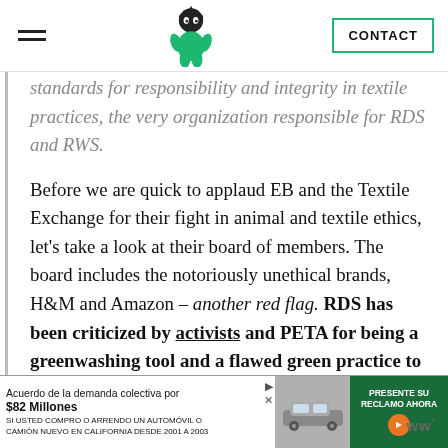CONTACT
standards for responsibility and integrity in textile practices, the very organization responsible for RDS and RWS.
Before we are quick to applaud EB and the Textile Exchange for their fight in animal and textile ethics, let’s take a look at their board of members. The board includes the notoriously unethical brands, H&M and Amazon – another red flag. RDS has been criticized by activists and PETA for being a greenwashing tool and a flawed green practice to entice consumers.
[Figure (other): Advertisement banner in Spanish: Acuerdo de la demanda colectiva por $82 Millones. SI USTED COMPRO O ARRENDO UN AUTOMOVIL O CAMION NUEVO EN CALIFORNIA DESDE 2001 A 2003. PRESENTE SU RECLAMO AHORA button with car image.]